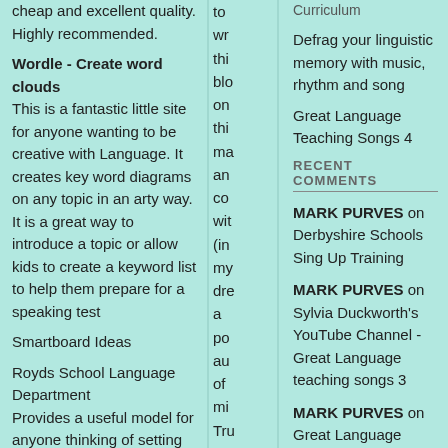cheap and excellent quality. Highly recommended.
Wordle - Create word clouds
This is a fantastic little site for anyone wanting to be creative with Language. It creates key word diagrams on any topic in an arty way. It is a great way to introduce a topic or allow kids to create a keyword list to help them prepare for a speaking test
Smartboard Ideas
Royds School Language Department
Provides a useful model for anyone thinking of setting up a departmental blog site
to wr thi blo on thi ma an co wit (in my dre a po au of mi Tru
Curriculum
Defrag your linguistic memory with music, rhythm and song
Great Language Teaching Songs 4
RECENT COMMENTS
MARK PURVES on Derbyshire Schools Sing Up Training
MARK PURVES on Sylvia Duckworth's YouTube Channel - Great Language teaching songs 3
MARK PURVES on Great Language Teaching Songs 4
Caroline Vickers on Derbyshire Schools Sing Up Training